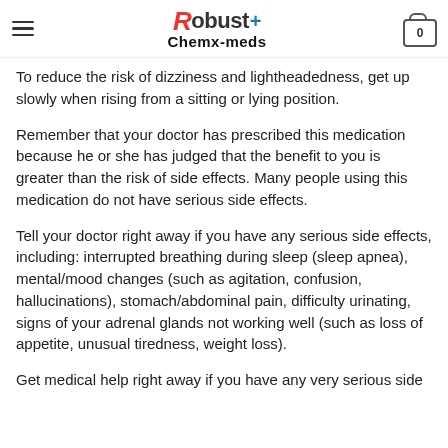Robust+ Chemx-meds
To reduce the risk of dizziness and lightheadedness, get up slowly when rising from a sitting or lying position.
Remember that your doctor has prescribed this medication because he or she has judged that the benefit to you is greater than the risk of side effects. Many people using this medication do not have serious side effects.
Tell your doctor right away if you have any serious side effects, including: interrupted breathing during sleep (sleep apnea), mental/mood changes (such as agitation, confusion, hallucinations), stomach/abdominal pain, difficulty urinating, signs of your adrenal glands not working well (such as loss of appetite, unusual tiredness, weight loss).
Get medical help right away if you have any very serious side